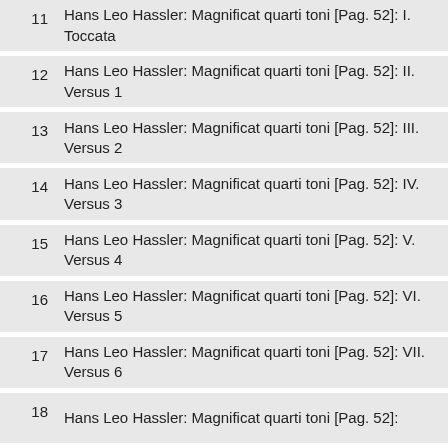11 Hans Leo Hassler: Magnificat quarti toni [Pag. 52]: I. Toccata
12 Hans Leo Hassler: Magnificat quarti toni [Pag. 52]: II. Versus 1
13 Hans Leo Hassler: Magnificat quarti toni [Pag. 52]: III. Versus 2
14 Hans Leo Hassler: Magnificat quarti toni [Pag. 52]: IV. Versus 3
15 Hans Leo Hassler: Magnificat quarti toni [Pag. 52]: V. Versus 4
16 Hans Leo Hassler: Magnificat quarti toni [Pag. 52]: VI. Versus 5
17 Hans Leo Hassler: Magnificat quarti toni [Pag. 52]: VII. Versus 6
18 Hans Leo Hassler: Magnificat quarti toni [Pag. 52]: